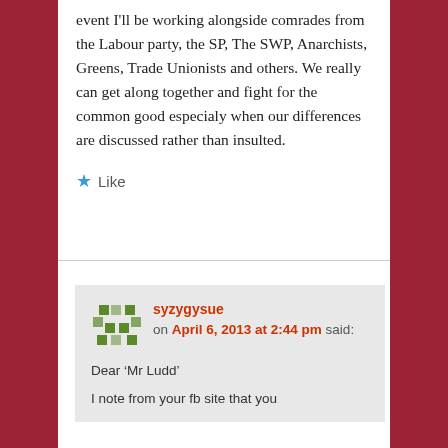event I'll be working alongside comrades from the Labour party, the SP, The SWP, Anarchists, Greens, Trade Unionists and others. We really can get along together and fight for the common good especialy when our differences are discussed rather than insulted.
Like
syzygysue on April 6, 2013 at 2:44 pm said:
Dear 'Mr Ludd'
I note from your fb site that you